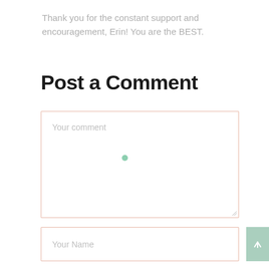Thank you for the constant support and encouragement, Erin! You are the BEST.
Post a Comment
[Figure (screenshot): Comment text area input box with placeholder text 'Your comment' and a small green dot indicator, with a resize handle at bottom right]
[Figure (screenshot): Name input field with placeholder text 'Your Name' and a green submit/arrow-up button to the right]